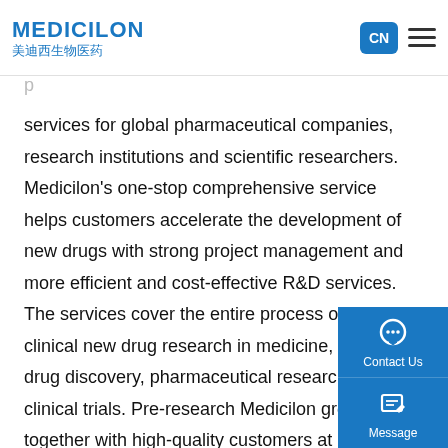MEDICILON 美迪西生物医药 | CN
services for global pharmaceutical companies, research institutions and scientific researchers. Medicilon's one-stop comprehensive service helps customers accelerate the development of new drugs with strong project management and more efficient and cost-effective R&D services. The services cover the entire process of pre-clinical new drug research in medicine, including drug discovery, pharmaceutical research and clinical trials. Pre-research Medicilon grows together with high-quality customers at home and abroad, and provides new drug research and development services to more than 700 customers around the world. Medicilon will continue to base itself on a global